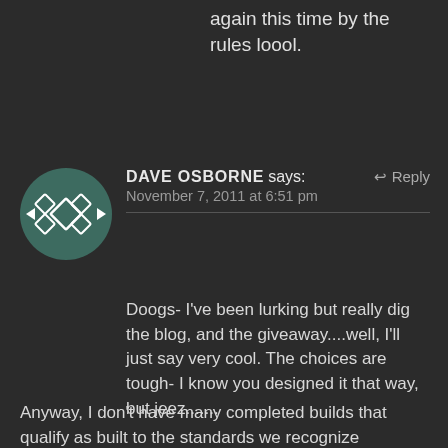again this time by the rules loool.
[Figure (illustration): Circular avatar with dark teal background featuring a geometric diamond/rhombus pattern in white, with small triangular arrows at left and right edges]
DAVE OSBORNE says:  ↵ Reply
November 7, 2011 at 6:51 pm
Doogs- I’ve been lurking but really dig the blog, and the giveaway....well, I’ll just say very cool. The choices are tough- I know you designed it that way, but jeez.......
Anyway, I don’t have many completed builds that qualify as built to the standards we recognize regarding basic construction and finishing. My choice